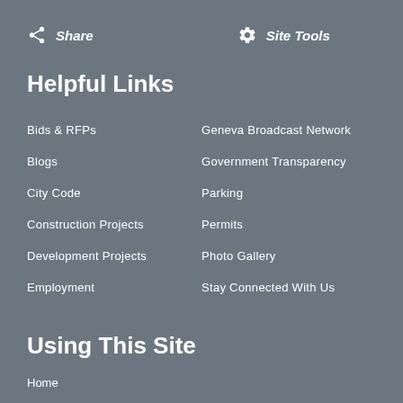Share   Site Tools
Helpful Links
Bids & RFPs
Geneva Broadcast Network
Blogs
Government Transparency
City Code
Parking
Construction Projects
Permits
Development Projects
Photo Gallery
Employment
Stay Connected With Us
Using This Site
Home